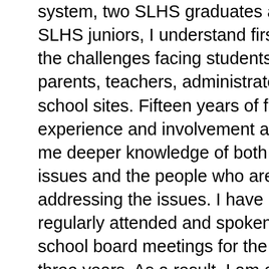system, two SLHS graduates and two SLHS juniors, I understand firsthand the challenges facing students, parents, teachers, administrators, and school sites. Fifteen years of firsthand experience and involvement affords me deeper knowledge of both the issues and the people who are addressing the issues. I have regularly attended and spoken at school board meetings for the last three years. As a result, I am already up to speed on the current SLUSD goals, and the challenges facing the district. Since the At-Large seat is a short term seat, the board member will not have time to learn on the job.